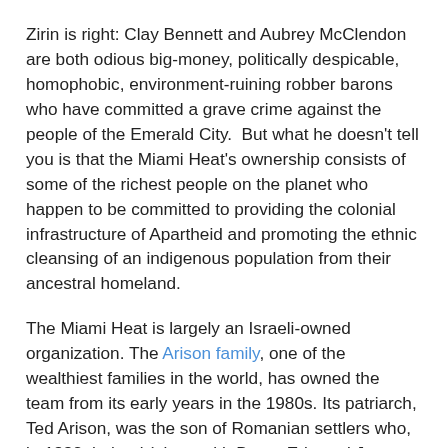Zirin is right: Clay Bennett and Aubrey McClendon are both odious big-money, politically despicable, homophobic, environment-ruining robber barons who have committed a grave crime against the people of the Emerald City.  But what he doesn't tell you is that the Miami Heat's ownership consists of some of the richest people on the planet who happen to be committed to providing the colonial infrastructure of Apartheid and promoting the ethnic cleansing of an indigenous population from their ancestral homeland.
The Miami Heat is largely an Israeli-owned organization. The Arison family, one of the wealthiest families in the world, has owned the team from its early years in the 1980s. Its patriarch, Ted Arison, was the son of Romanian settlers who, in 1882, helped (along with Baron Edmond James de Rothschild) to establish Zikhron Ya'akov, one of the first Jewish agricultural colonies in Palestine in the late nineteenth century. His father, Meir, was a multi-millionaire in his own right, owning the largest shipping company in Palestine under British Mandate. Ted served in the nascent